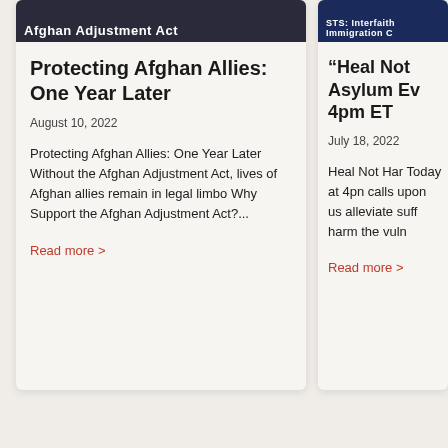[Figure (photo): Image banner with text 'Afghan Adjustment Act' in white on dark background]
Protecting Afghan Allies: One Year Later
August 10, 2022
Protecting Afghan Allies: One Year Later Without the Afghan Adjustment Act, lives of Afghan allies remain in legal limbo Why Support the Afghan Adjustment Act?...
Read more >
[Figure (photo): Image banner with text 'Interfaith Immigration C...' in white on dark blue background]
“Heal Not [Harm]” Asylum Ev[ent] 4pm ET
July 18, 2022
Heal Not Har[m] Today at 4pm [ET] calls upon us [to] alleviate suff[ering, not] harm the vul[nerable]
Read more >